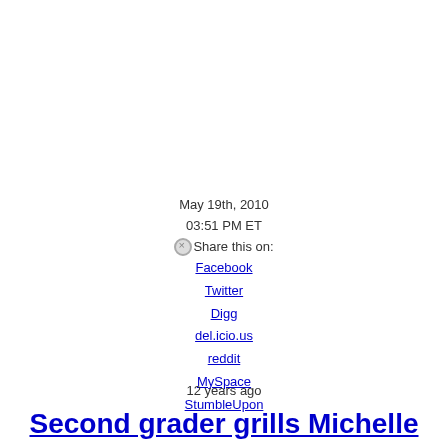May 19th, 2010
03:51 PM ET
Share this on:
Facebook
Twitter
Digg
del.icio.us
reddit
MySpace
StumbleUpon
12 years ago
Second grader grills Michelle